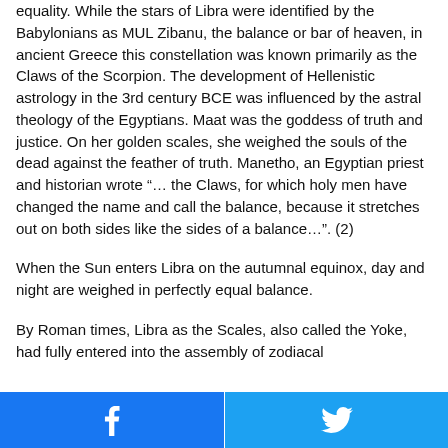equality. While the stars of Libra were identified by the Babylonians as MUL Zibanu, the balance or bar of heaven, in ancient Greece this constellation was known primarily as the Claws of the Scorpion. The development of Hellenistic astrology in the 3rd century BCE was influenced by the astral theology of the Egyptians. Maat was the goddess of truth and justice. On her golden scales, she weighed the souls of the dead against the feather of truth. Manetho, an Egyptian priest and historian wrote “… the Claws, for which holy men have changed the name and call the balance, because it stretches out on both sides like the sides of a balance…”. (2)
When the Sun enters Libra on the autumnal equinox, day and night are weighed in perfectly equal balance.
By Roman times, Libra as the Scales, also called the Yoke, had fully entered into the assembly of zodiacal
Facebook | Twitter share buttons